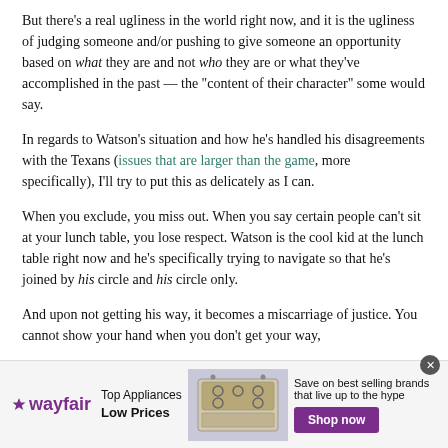But there's a real ugliness in the world right now, and it is the ugliness of judging someone and/or pushing to give someone an opportunity based on what they are and not who they are or what they've accomplished in the past — the "content of their character" some would say.
In regards to Watson's situation and how he's handled his disagreements with the Texans (issues that are larger than the game, more specifically), I'll try to put this as delicately as I can.
When you exclude, you miss out. When you say certain people can't sit at your lunch table, you lose respect. Watson is the cool kid at the lunch table right now and he's specifically trying to navigate so that he's joined by his circle and his circle only.
And upon not getting his way, it becomes a miscarriage of justice. You cannot show your hand when you don't get your way,
[Figure (infographic): Wayfair advertisement banner: Top Appliances Low Prices with shop now button and image of a stove/range appliance]